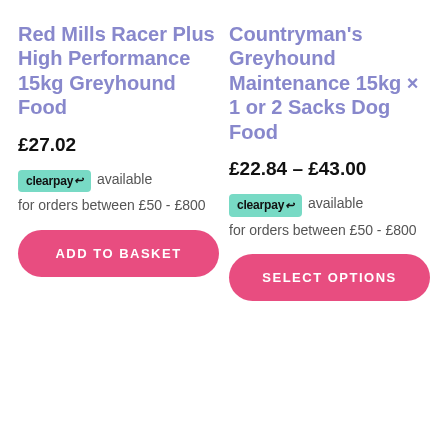Red Mills Racer Plus High Performance 15kg Greyhound Food
£27.02
clearpay available for orders between £50 - £800
ADD TO BASKET
Countryman's Greyhound Maintenance 15kg × 1 or 2 Sacks Dog Food
£22.84 – £43.00
clearpay available for orders between £50 - £800
SELECT OPTIONS